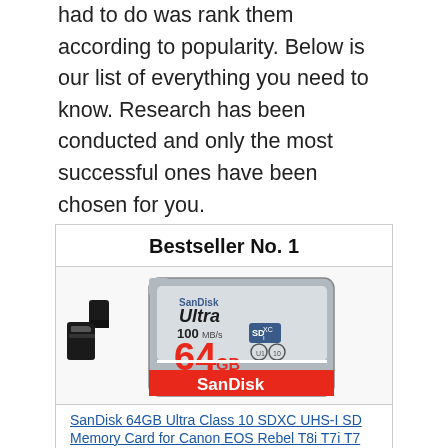had to do was rank them according to popularity. Below is our list of everything you need to know. Research has been conducted and only the most successful ones have been chosen for you.
Bestseller No. 1
[Figure (photo): SanDisk 64GB Ultra SD card (SDXC, 100 MB/s, Class 10, UHS-I) with a card reader and microSD adapter]
SanDisk 64GB Ultra Class 10 SDXC UHS-I SD Memory Card for Canon EOS Rebel T8i T7i T7 T6i